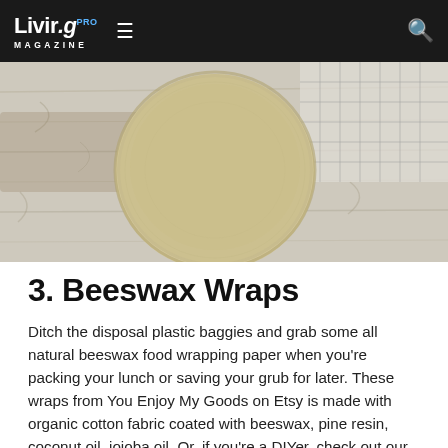Livir.g PRO MAGAZINE
[Figure (photo): Overhead photo of a round beeswax wrap covering a bowl, placed on a rustic white wood surface with a checkered cloth in the background.]
3. Beeswax Wraps
Ditch the disposal plastic baggies and grab some all natural beeswax food wrapping paper when you're packing your lunch or saving your grub for later. These wraps from You Enjoy My Goods on Etsy is made with organic cotton fabric coated with beeswax, pine resin, coconut oil, jojoba oil. Or, if you're a DIYer, check out our tutorial and make some of your own.